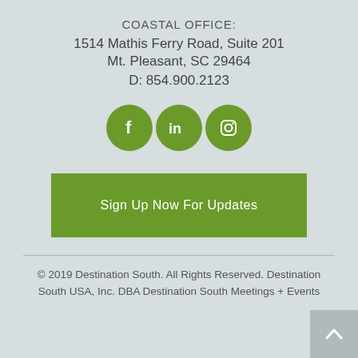COASTAL OFFICE:
1514 Mathis Ferry Road, Suite 201
Mt. Pleasant, SC 29464
D: 854.900.2123
[Figure (illustration): Three green circular social media icons: Facebook (f), LinkedIn (in), Instagram (camera icon)]
[Figure (illustration): Green rectangular button with white text: Sign Up Now For Updates]
© 2019 Destination South. All Rights Reserved. Destination South USA, Inc. DBA Destination South Meetings + Events